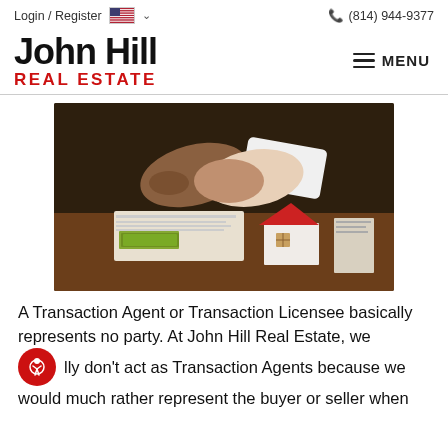Login / Register  🇺🇸 ∨  (814) 944-9377
John Hill REAL ESTATE
[Figure (photo): Two people shaking hands over a desk with money, documents, and a small model house with a red roof.]
A Transaction Agent or Transaction Licensee basically represents no party. At John Hill Real Estate, we ally don't act as Transaction Agents because we would much rather represent the buyer or seller when